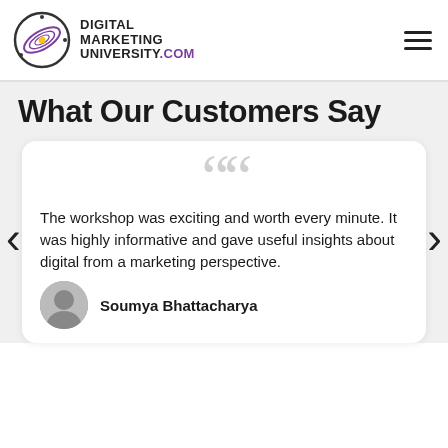[Figure (logo): Digital Marketing University.com logo with spiral galaxy icon and bold text]
What Our Customers Say
The workshop was exciting and worth every minute. It was highly informative and gave useful insights about digital from a marketing perspective.
Soumya Bhattacharya